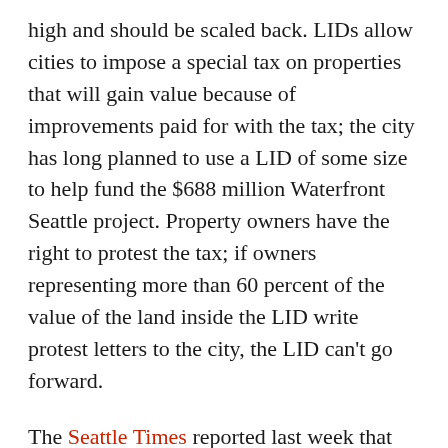high and should be scaled back. LIDs allow cities to impose a special tax on properties that will gain value because of improvements paid for with the tax; the city has long planned to use a LID of some size to help fund the $688 million Waterfront Seattle project. Property owners have the right to protest the tax; if owners representing more than 60 percent of the value of the land inside the LID write protest letters to the city, the LID can't go forward.
The Seattle Times reported last week that high-profile land use attorney Jack McCullough is representing some of the large waterfront property owners in negotiations with the city, and that, according to some condo owners, the city had agreed to lower the LID to $160 million. (Condo owners